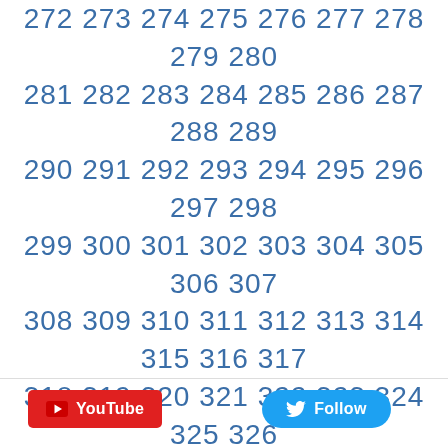272 273 274 275 276 277 278 279 280 281 282 283 284 285 286 287 288 289 290 291 292 293 294 295 296 297 298 299 300 301 302 303 304 305 306 307 308 309 310 311 312 313 314 315 316 317 318 319 320 321 322 323 324 325 326 327 328 329 330 331 332 333 334 335 336 337 338 339 340 341 342 343 ...
[Figure (other): YouTube button (red rectangle with play icon) and Twitter Follow button (blue pill with bird icon)]